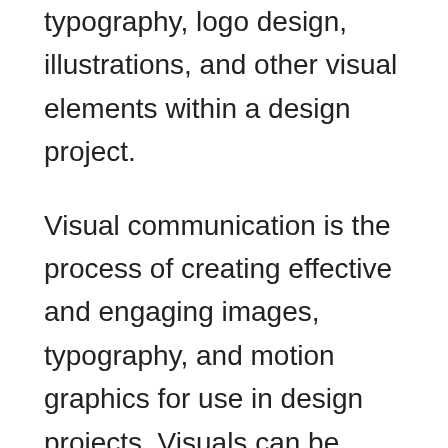typography, logo design, illustrations, and other visual elements within a design project.
Visual communication is the process of creating effective and engaging images, typography, and motion graphics for use in design projects. Visuals can be used to communicate a message or product to a user and can be used in a variety of different contexts – from website design and layout to advertising and marketing. In order to create effective visuals, designers must understand both the technical aspects of graphics creation (such as composition and colour